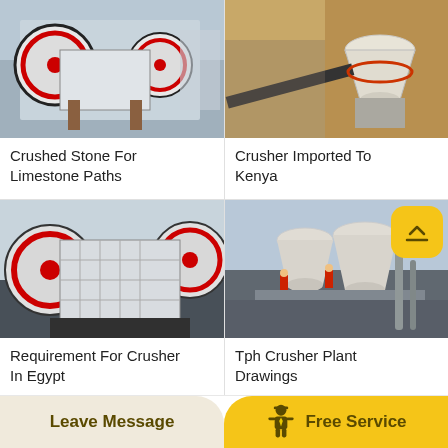[Figure (photo): Jaw crusher machine in industrial factory, white and red flywheel visible]
Crushed Stone For Limestone Paths
[Figure (photo): Cone crusher imported to Kenya, white cone crusher in outdoor quarry setting with brown gravel]
Crusher Imported To Kenya
[Figure (photo): Large jaw crusher in factory setting, white body with red and black wheels]
Requirement For Crusher In Egypt
[Figure (photo): Tph crusher plant with cone crushers and workers in red safety vests at industrial site]
Tph Crusher Plant Drawings
Leave Message
Free Service